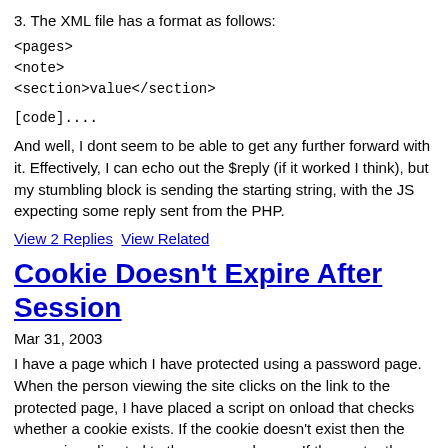3. The XML file has a format as follows:
<pages>
<note>
<section>value</section>
[code]....
And well, I dont seem to be able to get any further forward with it. Effectively, I can echo out the $reply (if it worked I think), but my stumbling block is sending the starting string, with the JS expecting some reply sent from the PHP.
View 2 Replies   View Related
Cookie Doesn't Expire After Session
Mar 31, 2003
I have a page which I have protected using a password page. When the person viewing the site clicks on the link to the protected page, I have placed a script on onload that checks whether a cookie exists. If the cookie doesn't exist then the person is redirected to the password page. If they enter the correct password then the